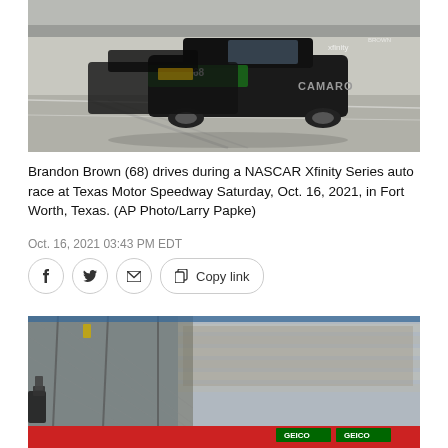[Figure (photo): NASCAR Xfinity Series race car driven by Brandon Brown (68), a black Chevrolet Camaro with Xfinity branding, on track at Texas Motor Speedway]
Brandon Brown (68) drives during a NASCAR Xfinity Series auto race at Texas Motor Speedway Saturday, Oct. 16, 2021, in Fort Worth, Texas. (AP Photo/Larry Papke)
Oct. 16, 2021 03:43 PM EDT
[Figure (photo): Grandstand area at Texas Motor Speedway with safety fencing visible in foreground, spectators in stands, and GEICO advertising banners along the track wall]